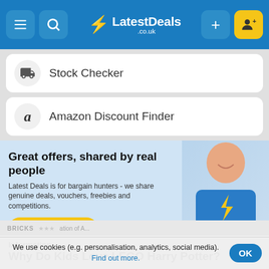LatestDeals.co.uk
Stock Checker
Amazon Discount Finder
Great offers, shared by real people
Latest Deals is for bargain hunters - we share genuine deals, vouchers, freebies and competitions.
Join for Free
Information
Why Do Kids Love LEGO Harry Potter?
We use cookies (e.g. personalisation, analytics, social media). Find out more.